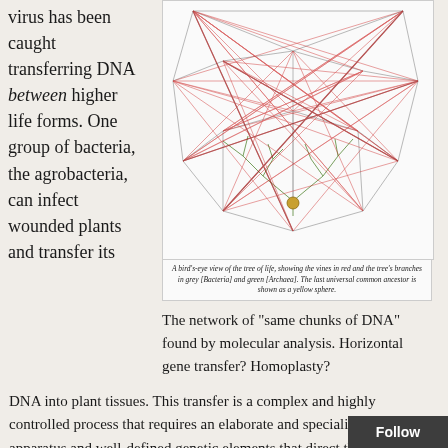virus has been caught transferring DNA between higher life forms.  One group of bacteria, the agrobacteria, can infect wounded plants and transfer its
[Figure (network-graph): A bird's-eye view of the tree of life network diagram showing viruses as red lines, tree branches in grey (Bacteria) and green (Archaea), with the last universal common ancestor shown as a yellow sphere at the center-bottom.]
A bird's-eye view of the tree of life, showing the vines in red and the tree's branches in grey [Bacteria] and green [Archaea]. The last universal common ancestor is shown as a yellow sphere.
The network of “same chunks of DNA” found by molecular analysis. Horizontal gene transfer? Homoplasty?
DNA into plant tissues.  This transfer is a complex and highly controlled process that requires an elaborate and specialized genetic apparatus and well-defined genetic elements that direct the specific bacterial DNA into the wounded plant cells.  Once cells are infected with this DNA the genes code for the d